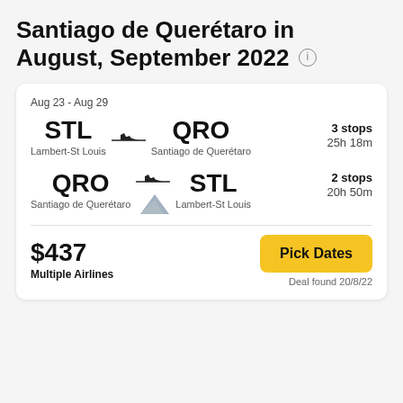Santiago de Querétaro in August, September 2022
[Figure (infographic): Flight deal card showing round trip from STL (Lambert-St Louis) to QRO (Santiago de Querétaro) for Aug 23 - Aug 29. Outbound: 3 stops, 25h 18m. Return: 2 stops, 20h 50m. Price $437, Multiple Airlines. Pick Dates button. Deal found 20/8/22.]